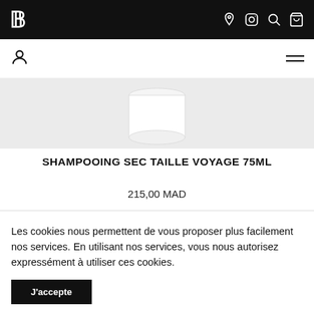B [logo] — navigation bar with icons: location, Instagram, search, cart
[Figure (screenshot): Product image of Shampooing Sec Taille Voyage 75ml — white cylindrical container on grey background, partially visible]
SHAMPOOING SEC TAILLE VOYAGE 75ML
215,00 MAD
Les cookies nous permettent de vous proposer plus facilement nos services. En utilisant nos services, vous nous autorisez expressément à utiliser ces cookies.
J'accepte